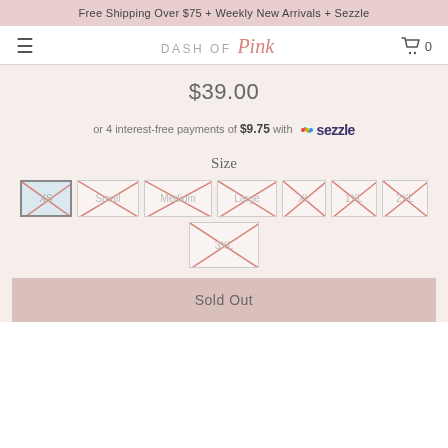Free Shipping Over $75 + Weekly New Arrivals + Sezzle
[Figure (logo): Dash of Pink logo with hamburger menu and cart icon showing 0 items]
$39.00
or 4 interest-free payments of $9.75 with Sezzle
Size
XS Small Medium Large XL 1XL 2XL 3XL (all sold out, crossed out)
Sold Out